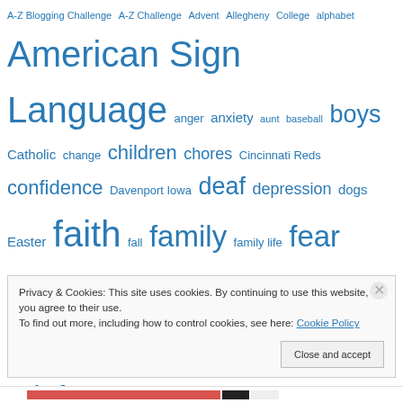[Figure (other): Tag cloud with blue hyperlinks of various font sizes representing blog topics including: A-Z Blogging Challenge, A-Z Challenge, Advent, Allegheny College, alphabet, American Sign Language, anger, anxiety, aunt, baseball, boys, Catholic, change, children, chores, Cincinnati Reds, confidence, Davenport Iowa, deaf, depression, dogs, Easter, faith, fall, family, family life, fear, forgiveness, Fred Rogers, friendship, frustration, girls, glaucoma, God, grace, gratitude, grief, Hope, Jesus, joy, Lent, love, marriage, middle age, mothering, music, Ohio River, parenting, patience]
Privacy & Cookies: This site uses cookies. By continuing to use this website, you agree to their use.
To find out more, including how to control cookies, see here: Cookie Policy
Close and accept